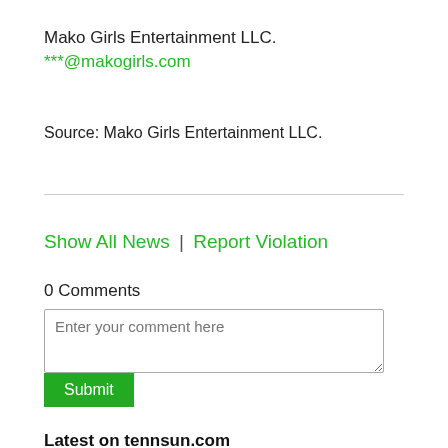Mako Girls Entertainment LLC.
***@makogirls.com
Source: Mako Girls Entertainment LLC.
Show All News | Report Violation
0 Comments
Enter your comment here
Submit
Latest on tennsun.com